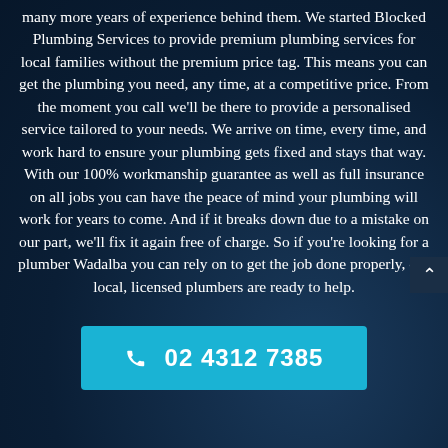many more years of experience behind them. We started Blocked Plumbing Services to provide premium plumbing services for local families without the premium price tag. This means you can get the plumbing you need, any time, at a competitive price. From the moment you call we'll be there to provide a personalised service tailored to your needs. We arrive on time, every time, and work hard to ensure your plumbing gets fixed and stays that way. With our 100% workmanship guarantee as well as full insurance on all jobs you can have the peace of mind your plumbing will work for years to come. And if it breaks down due to a mistake on our part, we'll fix it again free of charge. So if you're looking for a plumber Wadalba you can rely on to get the job done properly, our local, licensed plumbers are ready to help.
02 4312 7385